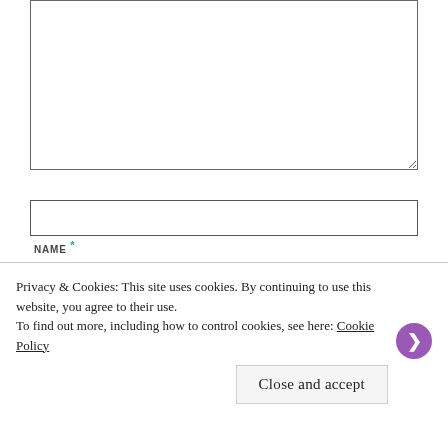[Figure (screenshot): Comment textarea input box at top of page, partially visible]
NAME *
EMAIL *
WEBSITE
Privacy & Cookies: This site uses cookies. By continuing to use this website, you agree to their use.
To find out more, including how to control cookies, see here: Cookie Policy
Close and accept